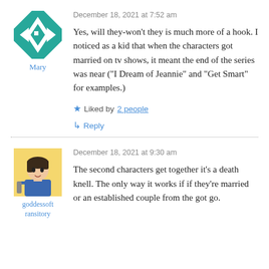December 18, 2021 at 7:52 am
Yes, will they-won't they is much more of a hook. I noticed as a kid that when the characters got married on tv shows, it meant the end of the series was near ("I Dream of Jeannie" and "Get Smart" for examples.)
★ Liked by 2 people
↳ Reply
December 18, 2021 at 9:30 am
The second characters get together it's a death knell. The only way it works if if they're married or an established couple from the got go.